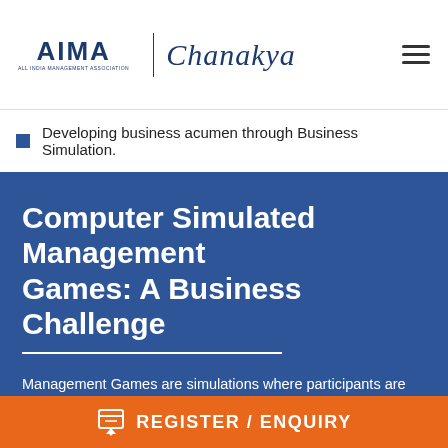AIMA Chanakya
Developing business acumen through Business Simulation.
Computer Simulated Management Games: A Business Challenge
Management Games are simulations where participants are confronted with business issues. They are asked to take management decisions and see the business effect of such decisions, soon thereafter. Participants play to win, and in seeking to win, they imbibe new forms of competitive behavior that are ideal for today's highly chaotic business conditions. The competition
REGISTER / ENQUIRY